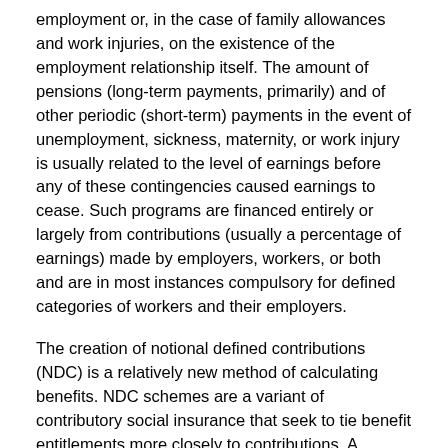employment or, in the case of family allowances and work injuries, on the existence of the employment relationship itself. The amount of pensions (long-term payments, primarily) and of other periodic (short-term) payments in the event of unemployment, sickness, maternity, or work injury is usually related to the level of earnings before any of these contingencies caused earnings to cease. Such programs are financed entirely or largely from contributions (usually a percentage of earnings) made by employers, workers, or both and are in most instances compulsory for defined categories of workers and their employers.
The creation of notional defined contributions (NDC) is a relatively new method of calculating benefits. NDC schemes are a variant of contributory social insurance that seek to tie benefit entitlements more closely to contributions. A hypothetical account is created for each insured person that is made up of all contributions during his or her working life and, in some cases, credit for unpaid activity such as caregiving. A pension is calculated by dividing that amount by the average life expectancy at the time of retirement and indexing it to various economic factors. When benefits are due, the